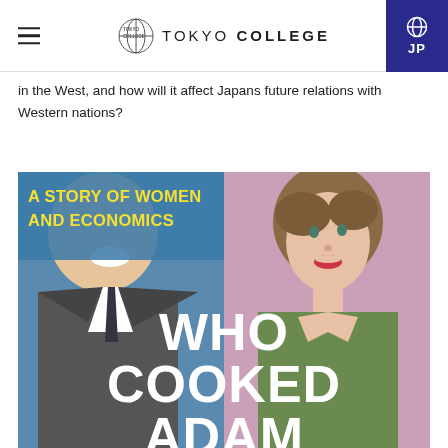TOKYO COLLEGE
in the West, and how will it affect Japans future relations with Western nations?
[Figure (illustration): Book cover for 'Who Cooked Adam' subtitled 'A Story of Women and Economics', showing a vintage-style split composition: left half shows a smiling man in a suit against a blue background, right half shows a smiling woman against a pink/lavender background. Yellow text reads 'A STORY OF WOMEN AND ECONOMICS' and white text reads 'WHO COOKED ADAM']